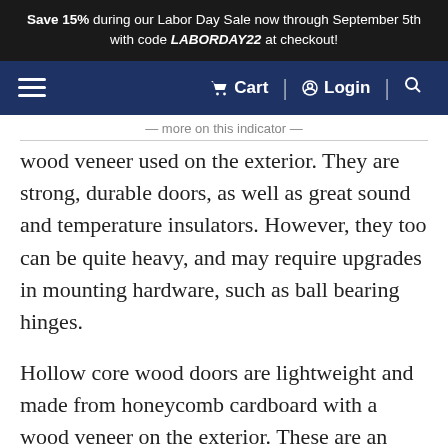Save 15% during our Labor Day Sale now through September 5th with code LABORDAY22 at checkout!
Cart | Login | Search
wood veneer used on the exterior. They are strong, durable doors, as well as great sound and temperature insulators. However, they too can be quite heavy, and may require upgrades in mounting hardware, such as ball bearing hinges.
Hollow core wood doors are lightweight and made from honeycomb cardboard with a wood veneer on the exterior. These are an economical wood door solution for a home with a lot of doors, or for closets or pantries. They don't have the strength, durability, or insulation qualities you'd get from a stile and rail or solid core wood door, but they are unlikely to warp, easy to install,